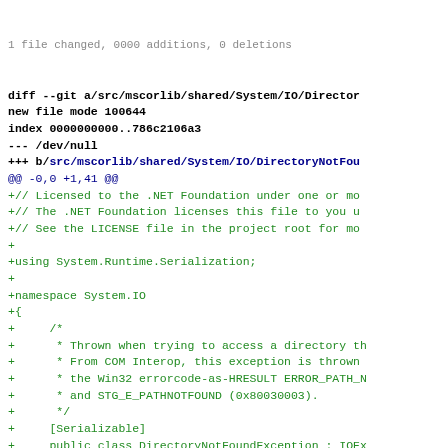1 file changed, 0000 additions, 0 deletions
diff --git a/src/mscorlib/shared/System/IO/Director
new file mode 100644
index 0000000000..786c2106a3
--- /dev/null
+++ b/src/mscorlib/shared/System/IO/DirectoryNotFou
@@ -0,0 +1,41 @@
+// Licensed to the .NET Foundation under one or mo
+// The .NET Foundation licenses this file to you u
+// See the LICENSE file in the project root for mo
+
+using System.Runtime.Serialization;
+
+namespace System.IO
+{
+     /*
+      * Thrown when trying to access a directory th
+      * From COM Interop, this exception is thrown
+      * the Win32 errorcode-as-HRESULT ERROR_PATH_N
+      * and STG_E_PATHNOTFOUND (0x80030003).
+      */
+     [Serializable]
+     public class DirectoryNotFoundException : IOEx
+     {
+          public DirectoryNotFoundException()
+              : base(SR.Arg_DirectoryNotFoundExcepti
+          {
+               HResult = __HResults.COR_E_DIRECTORYNO
+          }
+